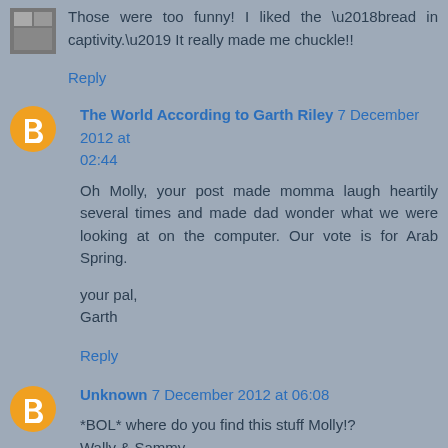Those were too funny! I liked the ‘bread in captivity.’ It really made me chuckle!!
Reply
The World According to Garth Riley 7 December 2012 at 02:44
Oh Molly, your post made momma laugh heartily several times and made dad wonder what we were looking at on the computer. Our vote is for Arab Spring.

your pal,
Garth
Reply
Unknown 7 December 2012 at 06:08
*BOL* where do you find this stuff Molly!?
Wally & Sammy
Reply